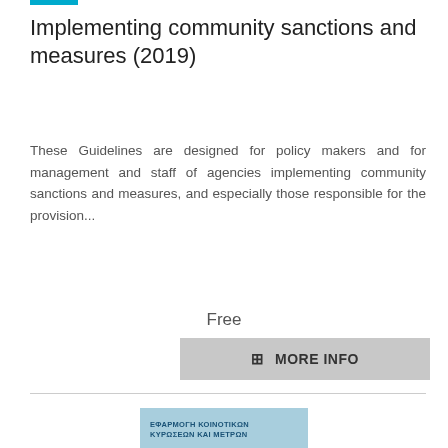Implementing community sanctions and measures (2019)
These Guidelines are designed for policy makers and for management and staff of agencies implementing community sanctions and measures, and especially those responsible for the provision...
Free
+ MORE INFO
[Figure (illustration): Book cover of 'ΕΦΑΡΜΟΓΗ ΚΟΙΝΟΤΙΚΩΝ ΚΥΡΩΣΕΩΝ ΚΑΙ ΜΕΤΡΩΝ' showing a hand breaking free from handcuffs with birds flying, Council of Europe publication]